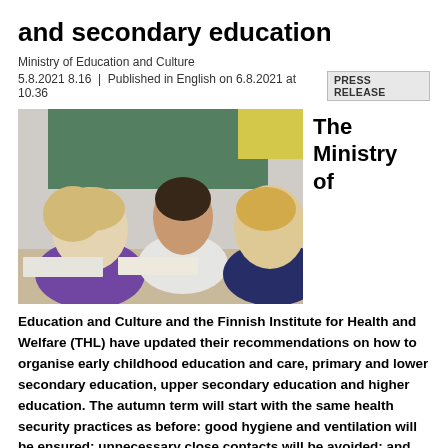and secondary education
Ministry of Education and Culture
5.8.2021 8.16  |  Published in English on 6.8.2021 at 10.36   PRESS RELEASE
[Figure (photo): Three school children sitting at desks writing in a classroom with a green chalkboard in the background.]
The Ministry of
Education and Culture and the Finnish Institute for Health and Welfare (THL) have updated their recommendations on how to organise early childhood education and care, primary and lower secondary education, upper secondary education and higher education. The autumn term will start with the same health security practices as before: good hygiene and ventilation will be ensured; unnecessary close contacts will be avoided; and premises will be used in a spacious way,